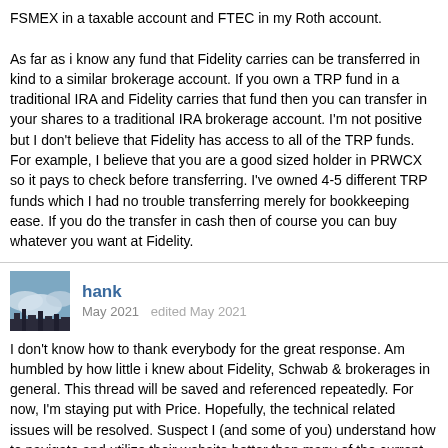FSMEX in a taxable account and FTEC in my Roth account.

As far as i know any fund that Fidelity carries can be transferred in kind to a similar brokerage account. If you own a TRP fund in a traditional IRA and Fidelity carries that fund then you can transfer in your shares to a traditional IRA brokerage account. I'm not positive but I don't believe that Fidelity has access to all of the TRP funds. For example, I believe that you are a good sized holder in PRWCX so it pays to check before transferring. I've owned 4-5 different TRP funds which I had no trouble transferring merely for bookkeeping ease. If you do the transfer in cash then of course you can buy whatever you want at Fidelity.
[Figure (photo): Avatar photo showing a cityscape or landscape with clouds, used as user profile picture for 'hank']
hank
May 2021   edited May 2021
I don't know how to thank everybody for the great response. Am humbled by how little i knew about Fidelity, Schwab & brokerages in general. This thread will be saved and referenced repeatedly. For now, I'm staying put with Price. Hopefully, the technical related issues will be resolved. Suspect I (and some of you) understand how to navigate and utilize their website better than many of the current phone reps - for reasons unclear to me.
FWIW - Later in the evening Tuesday after reading all the responses, I researched practically every fund house on the attached list. Went right to their website. Late into the night. The changes in the mutual fund business